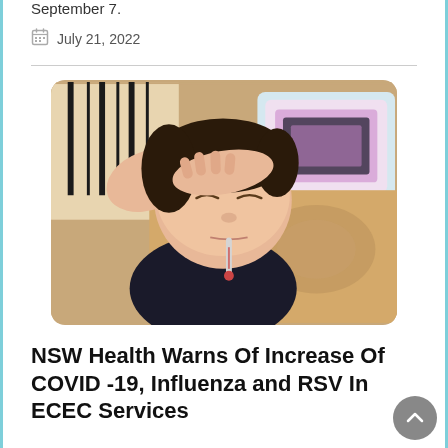September 7.
July 21, 2022
[Figure (photo): A sick child lying in bed with eyes closed, hand on forehead and thermometer in mouth, surrounded by patterned pillows and blankets]
NSW Health Warns Of Increase Of COVID -19, Influenza and RSV In ECEC Services